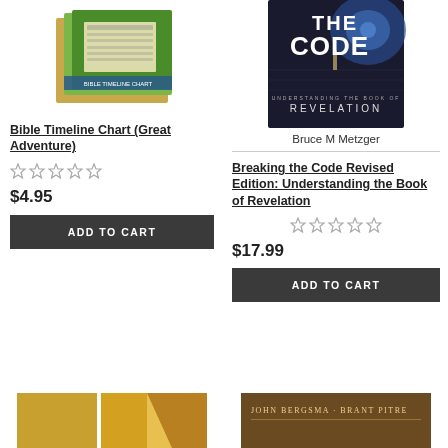[Figure (photo): Book cover for Bible Timeline Chart (Great Adventure) - colorful educational chart]
Bible Timeline Chart (Great Adventure)
[Figure (other): 5 empty star rating icons]
$4.95
ADD TO CART
[Figure (photo): Book cover: Breaking the Code Revised Edition - THE CODE UNDERSTANDING THE BOOK OF REVELATION]
Bruce M Metzger
Breaking the Code Revised Edition: Understanding the Book of Revelation
[Figure (other): 5 empty star rating icons]
$17.99
ADD TO CART
[Figure (photo): Partial book cover bottom left - gold and white colors]
[Figure (photo): Partial book cover bottom right - John Bergsma - Brant Pitre]